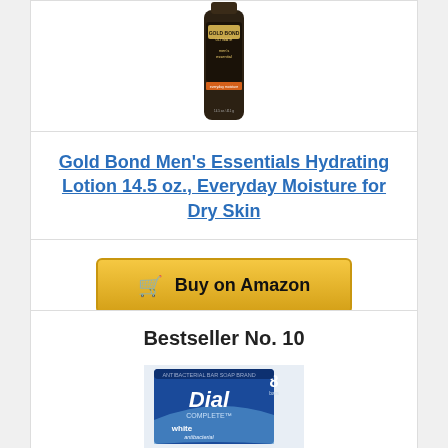[Figure (photo): Gold Bond Ultimate Men's Essentials body lotion bottle, dark packaging]
Gold Bond Men's Essentials Hydrating Lotion 14.5 oz., Everyday Moisture for Dry Skin
[Figure (other): Buy on Amazon button with shopping cart icon]
Bestseller No. 10
[Figure (photo): Dial Complete white antibacterial bar soap, 8 bars]